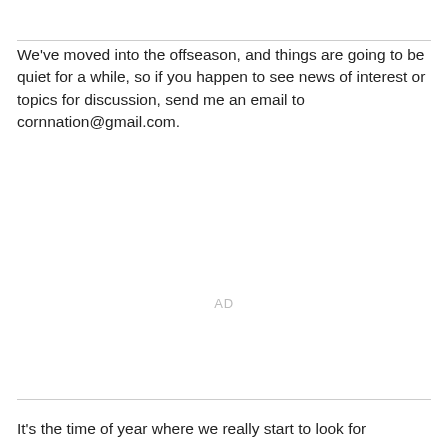We've moved into the offseason, and things are going to be quiet for a while, so if you happen to see news of interest or topics for discussion, send me an email to cornnation@gmail.com.
AD
It's the time of year where we really start to look for